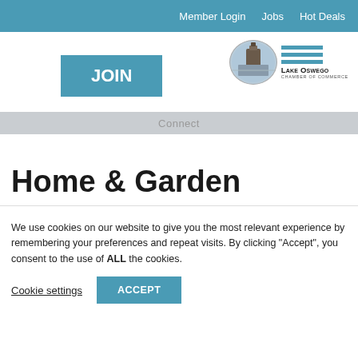Member Login   Jobs   Hot Deals
[Figure (logo): JOIN button and Lake Oswego Chamber of Commerce logo with oval photo, horizontal blue lines, organization name and subtitle]
Connect
Home & Garden
We use cookies on our website to give you the most relevant experience by remembering your preferences and repeat visits. By clicking “Accept”, you consent to the use of ALL the cookies.
Cookie settings   ACCEPT